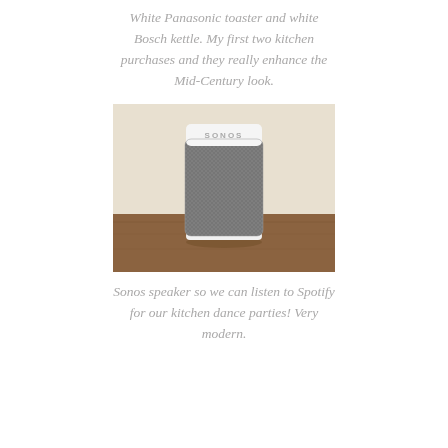White Panasonic toaster and white Bosch kettle. My first two kitchen purchases and they really enhance the Mid-Century look.
[Figure (photo): A white Sonos Play:1 speaker sitting on a wooden surface against a light wall. The speaker has a mesh grille body with a white top cap showing the SONOS logo.]
Sonos speaker so we can listen to Spotify for our kitchen dance parties! Very modern.